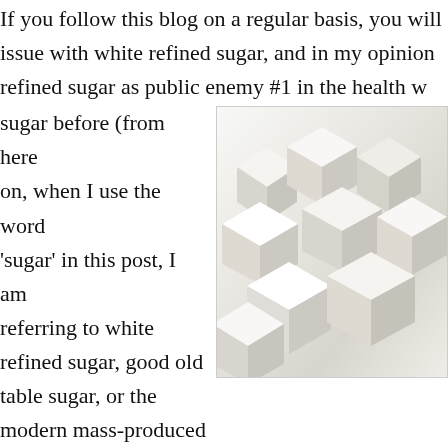If you follow this blog on a regular basis, you will know I have an issue with white refined sugar, and in my opinion, refined sugar as public enemy #1 in the health w... sugar before (from here on, when I use the word 'sugar' in this post, I am referring to white refined sugar, good old table sugar, or the modern mass-produced sugar-syrups that are used as 'sugar' in modern food manufacturing, such as HFCS and similar compounds that come under s... endeavour not to repeat myself too much in this... reading more about the evils of sugar, go to www... find the little 'search' box a short way down on t... type in 'sugar' and hit return, and you will find lo...
[Figure (photo): Close-up photo of white refined sugar cubes piled together]